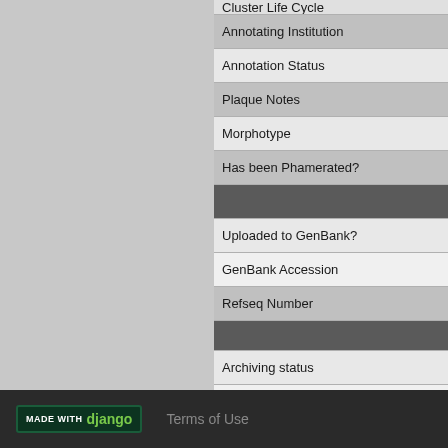| Field |
| --- |
| Cluster Life Cycle |
| Annotating Institution |
| Annotation Status |
| Plaque Notes |
| Morphotype |
| Has been Phamerated? |
|  |
| Uploaded to GenBank? |
| GenBank Accession |
| Refseq Number |
|  |
| Archiving status |
| Pitt Freezer Box# |
| Pitt Freezer Box Grid# |
MADE WITH django   Terms of Use